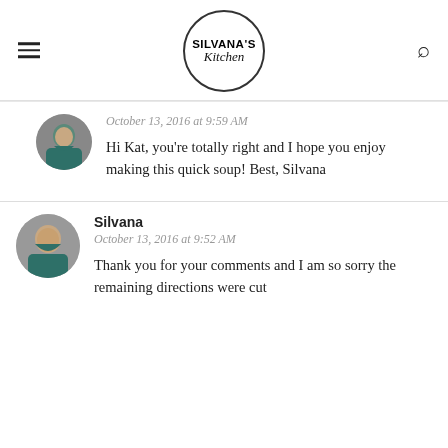SILVANA'S Kitchen
October 13, 2016 at 9:59 AM
Hi Kat, you're totally right and I hope you enjoy making this quick soup! Best, Silvana
Silvana
October 13, 2016 at 9:52 AM
Thank you for your comments and I am so sorry the remaining directions were cut